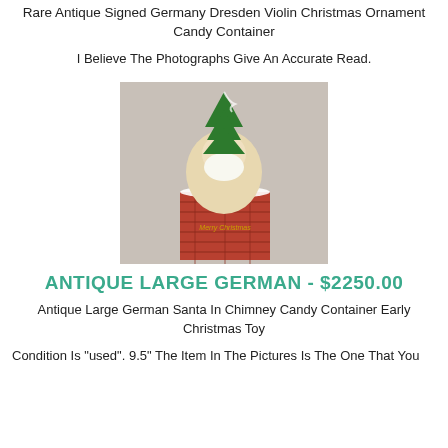Rare Antique Signed Germany Dresden Violin Christmas Ornament Candy Container
I Believe The Photographs Give An Accurate Read.
[Figure (photo): Antique German Santa Claus figurine in chimney candy container, holding a Christmas tree, with 'Merry Christmas' text on the brick chimney base.]
ANTIQUE LARGE GERMAN - $2250.00
Antique Large German Santa In Chimney Candy Container Early Christmas Toy
Condition Is "used". 9.5" The Item In The Pictures Is The One That You